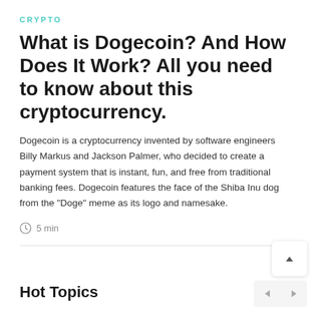CRYPTO
What is Dogecoin? And How Does It Work? All you need to know about this cryptocurrency.
Dogecoin is a cryptocurrency invented by software engineers Billy Markus and Jackson Palmer, who decided to create a payment system that is instant, fun, and free from traditional banking fees. Dogecoin features the face of the Shiba Inu dog from the "Doge" meme as its logo and namesake.
5 min
Hot Topics